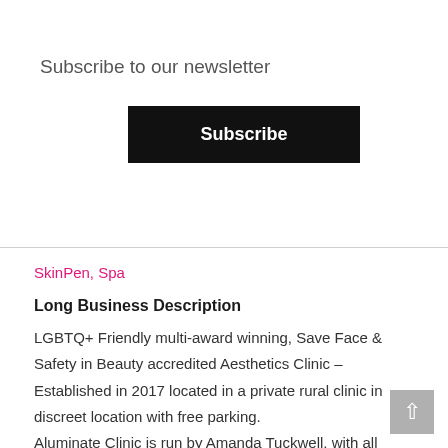×
Subscribe to our newsletter
Subscribe
SkinPen, Spa
Long Business Description
LGBTQ+ Friendly multi-award winning, Save Face & Safety in Beauty accredited Aesthetics Clinic – Established in 2017 located in a private rural clinic in discreet location with free parking.
Aluminate Clinic is run by Amanda Tuckwell, with all consultations and treatments being carried out by her.
Amanda is fortunate to have the space at home to have a fully functioning, professional clinic where she is able to offer flexible appointments including evenings and weekends. As